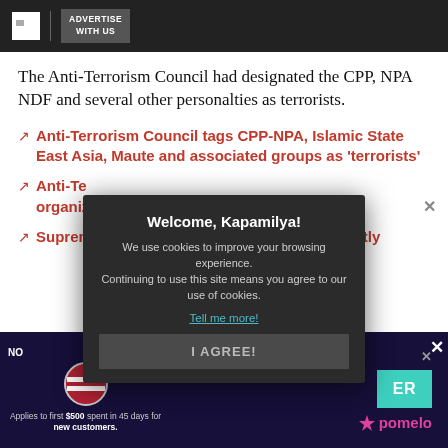ADVERTISE WITH US
The Anti-Terrorism Council had designated the CPP, NPA NDF and several other personalties as terrorists.
Anti-Terrorism Council tags CPP-NPA, Islamic State East Asia, Maute and associated groups as 'terrorists'
Anti-Terrorism Council ... organizations ...
Supreme Court ... anti-terror law mostly ...
[Figure (screenshot): Cookie consent modal overlay with dark background: 'Welcome, Kapamilya!' heading, cookie usage notice, 'Tell me more!' link in cyan, and 'I AGREE!' button]
[Figure (screenshot): Advertisement banner for Pomelo with NO label, US flag emoji, register button (ER), fine print 'Applies to first $500 spent in 45 days for new customers.']